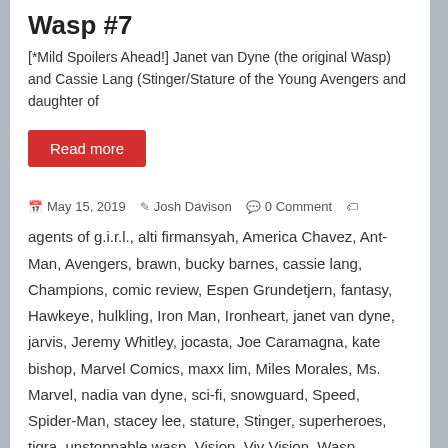Wasp #7
[*Mild Spoilers Ahead!] Janet van Dyne (the original Wasp) and Cassie Lang (Stinger/Stature of the Young Avengers and daughter of
Read more
May 15, 2019   Josh Davison   0 Comment   agents of g.i.r.l., alti firmansyah, America Chavez, Ant-Man, Avengers, brawn, bucky barnes, cassie lang, Champions, comic review, Espen Grundetjern, fantasy, Hawkeye, hulkling, Iron Man, Ironheart, janet van dyne, jarvis, Jeremy Whitley, jocasta, Joe Caramagna, kate bishop, Marvel Comics, maxx lim, Miles Morales, Ms. Marvel, nadia van dyne, sci-fi, snowguard, Speed, Spider-Man, stacey lee, stature, Stinger, superheroes, tigra, unstoppable wasp, Vision, Viv Vision, Wasp, wiccan, Winter Soldier, Young Avengers